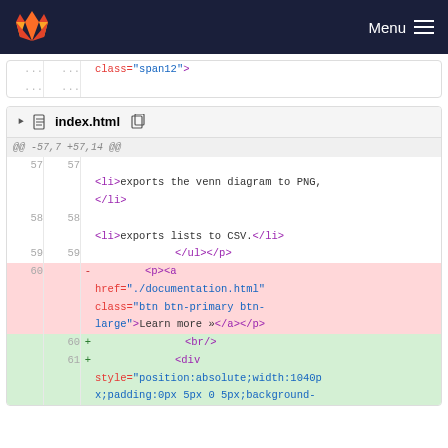Menu
[Figure (screenshot): GitLab diff view showing changes to index.html. Partial top block shows class="span12">. Main block shows file index.html with diff hunks: lines 57-59 context showing <li>exports the venn diagram to PNG,</li>, <li>exports lists to CSV.</li>, </ul></p>. Line 60 removed: <p><a href="./documentation.html" class="btn btn-primary btn-large">Learn more »</a></p>. Lines 60-61 added: <br/> and <div style="position:absolute;width:1040px;padding:0px 5px 0 5px;background-]